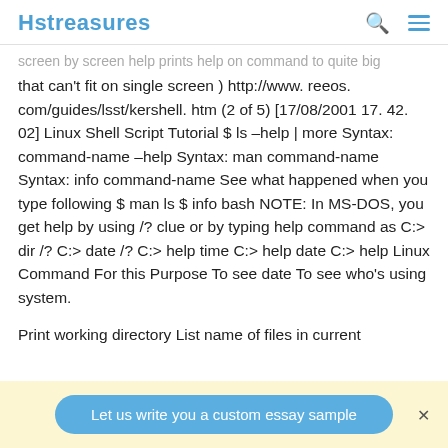Hstreasures
screen by screen help prints help on command to quite big that can't fit on single screen ) http://www. reeos. com/guides/lsst/kershell. htm (2 of 5) [17/08/2001 17. 42. 02] Linux Shell Script Tutorial $ ls –help | more Syntax: command-name –help Syntax: man command-name Syntax: info command-name See what happened when you type following $ man ls $ info bash NOTE: In MS-DOS, you get help by using /? clue or by typing help command as C:> dir /? C:> date /? C:> help time C:> help date C:> help Linux Command For this Purpose To see date To see who's using system.
Print working directory List name of files in current
Let us write you a custom essay sample